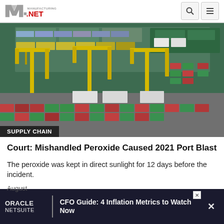Manufacturing.NET
[Figure (photo): Aerial view of a shipping port with yellow gantry cranes, a large container ship loaded with colorful shipping containers, and rows of stacked containers on the dock. Category label reads SUPPLY CHAIN.]
Court: Mishandled Peroxide Caused 2021 Port Blast
The peroxide was kept in direct sunlight for 12 days before the incident.
August
[Figure (screenshot): Oracle NetSuite advertisement banner: CFO Guide: 4 Inflation Metrics to Watch Now]